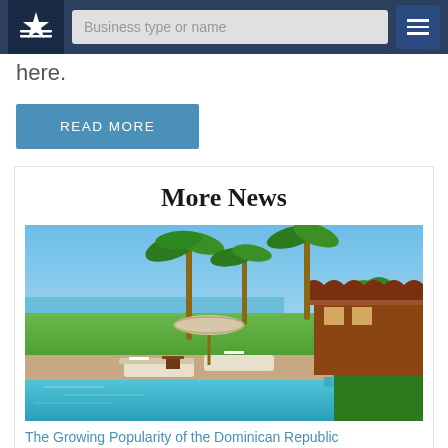Business type or name
here.
READ MORE
More News
[Figure (photo): Tropical resort with swimming pool, lounge chairs, beach umbrellas, palm trees and a villa building next to a sandy beach]
The Growing Popularity of the Dominican Republic